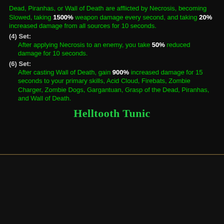Dead, Piranhas, or Wall of Death are afflicted by Necrosis, becoming Slowed, taking 1500% weapon damage every second, and taking 20% increased damage from all sources for 10 seconds.
(4) Set: After applying Necrosis to an enemy, you take 50% reduced damage for 10 seconds.
(6) Set: After casting Wall of Death, gain 900% increased damage for 15 seconds to your primary skills, Acid Cloud, Firebats, Zombie Charger, Zombie Dogs, Gargantuan, Grasp of the Dead, Piranhas, and Wall of Death.
Helltooth Tunic
Ancient Set Chest Armor
Torso
Witch Doctor
759 Armor
[Figure (illustration): Game item illustration of a Witch Doctor chest armor piece (Helltooth Tunic) with skull motif and feather decorations on dark green background]
e+